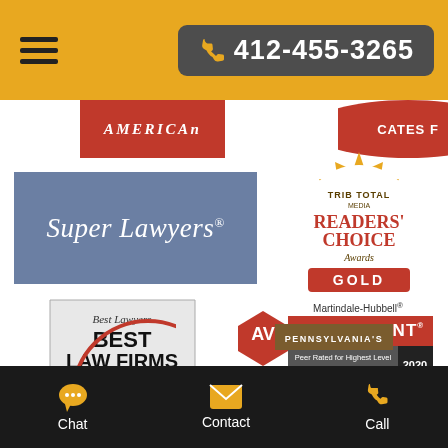412-455-3265
[Figure (logo): Super Lawyers badge logo on blue-grey background]
[Figure (logo): Trib Total Media Readers' Choice Awards Gold badge]
[Figure (logo): Best Lawyers Best Law Firms U.S. News & World Report 2021 shield badge]
[Figure (logo): Martindale-Hubbell AV Preeminent Peer Rated for Highest Level of Professional Excellence 2020 badge]
Chat   Contact   Call